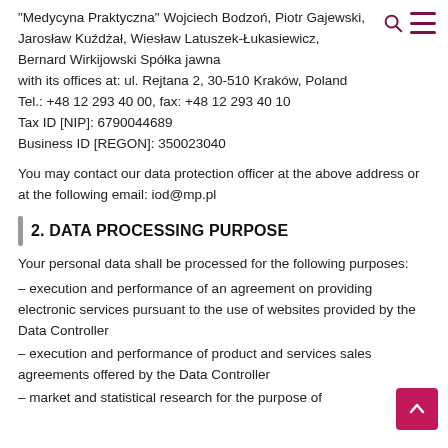"Medycyna Praktyczna" Wojciech Bodzoń, Piotr Gajewski, Jarosław Kuźdżał, Wiesław Latuszek-Łukasiewicz, Bernard Wirkijowski Spółka jawna with its offices at: ul. Rejtana 2, 30-510 Kraków, Poland Tel.: +48 12 293 40 00, fax: +48 12 293 40 10 Tax ID [NIP]: 6790044689 Business ID [REGON]: 350023040
You may contact our data protection officer at the above address or at the following email: iod@mp.pl
2. DATA PROCESSING PURPOSE
Your personal data shall be processed for the following purposes:
– execution and performance of an agreement on providing electronic services pursuant to the use of websites provided by the Data Controller
– execution and performance of product and services sales agreements offered by the Data Controller
– market and statistical research for the purpose of